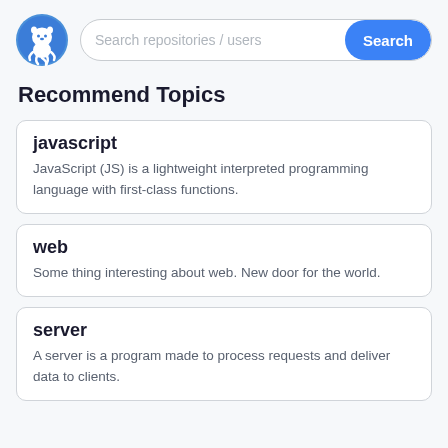Search repositories / users
Recommend Topics
javascript
JavaScript (JS) is a lightweight interpreted programming language with first-class functions.
web
Some thing interesting about web. New door for the world.
server
A server is a program made to process requests and deliver data to clients.